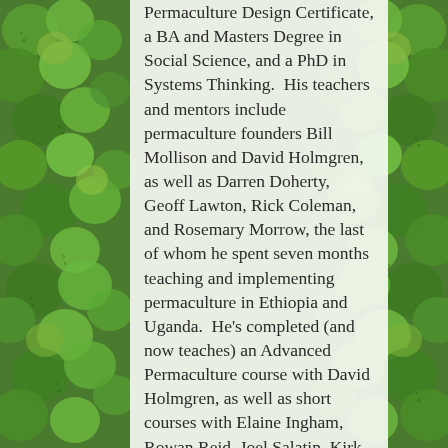[Figure (illustration): Decorative background of overlapping green leaf/circle illustrations with handwritten botanical annotations, arranged on both left and right sides of the page behind a semi-transparent white text panel.]
Permaculture Design Certificate, a BA and Masters Degree in Social Science, and a PhD in Systems Thinking.  His teachers and mentors include permaculture founders Bill Mollison and David Holmgren, as well as Darren Doherty, Geoff Lawton, Rick Coleman, and Rosemary Morrow, the last of whom he spent seven months teaching and implementing permaculture in Ethiopia and Uganda.  He's completed (and now teaches) an Advanced Permaculture course with David Holmgren, as well as short courses with Elaine Ingham, Rowan Reid, Joel Salatin, Kirk Gadzia and Graeme George.  Co-founder of the now international permablitz movement, and his new projects Making Permaculture Stronger and...